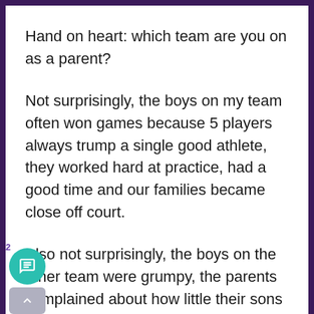Hand on heart: which team are you on as a parent?
Not surprisingly, the boys on my team often won games because 5 players always trump a single good athlete, they worked hard at practice, had a good time and our families became close off court.
Also not surprisingly, the boys on the other team were grumpy, the parents complained about how little their sons played and each family walked in a different direction as soon as the game was over.